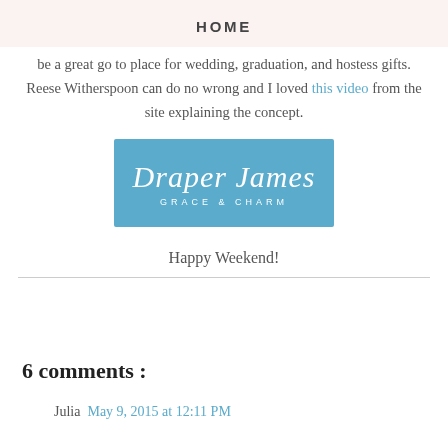HOME
be a great go to place for wedding, graduation, and hostess gifts. Reese Witherspoon can do no wrong and I loved this video from the site explaining the concept.
[Figure (logo): Draper James logo — cursive white lettering on a sky-blue rectangular background with subtitle 'GRACE & CHARM']
Happy Weekend!
6 comments :
Julia  May 9, 2015 at 12:11 PM